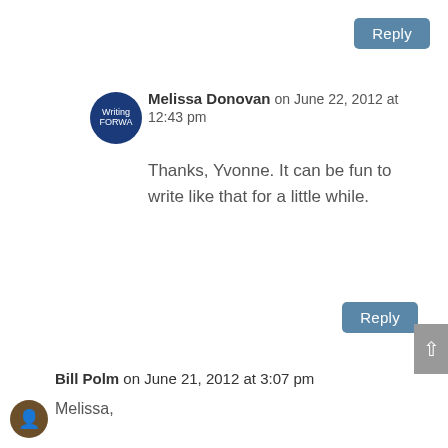[Figure (other): Reply button at top right]
Melissa Donovan on June 22, 2012 at 12:43 pm
Thanks, Yvonne. It can be fun to write like that for a little while.
[Figure (other): Reply button mid-right]
Bill Polm on June 21, 2012 at 3:07 pm
Melissa,
Glad to see you say this.